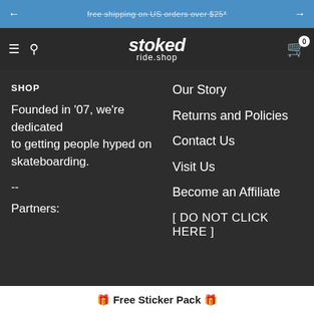free shipping on US orders over $25*
stoked ride.shop
SHOP
Founded in '07, we're dedicated to getting people hyped on skateboarding.
--
Partners:
Our Story
Returns and Policies
Contact Us
Visit Us
Become an Affiliate
[ DO NOT CLICK HERE ]
🎁 Free Sticker Pack 🎁